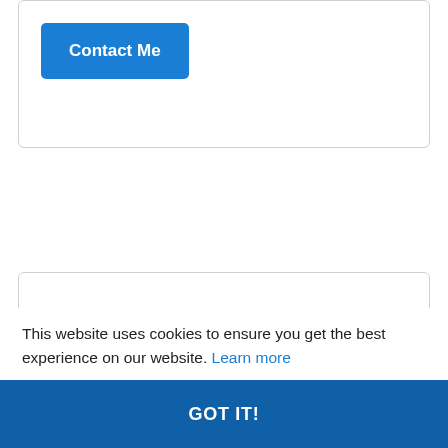[Figure (screenshot): Blue 'Contact Me' button on a white card with light border]
District Committee members;
Peter Read    Hampton
John Sime    Beaumaris
TBA
This website uses cookies to ensure you get the best experience on our website. Learn more
GOT IT!